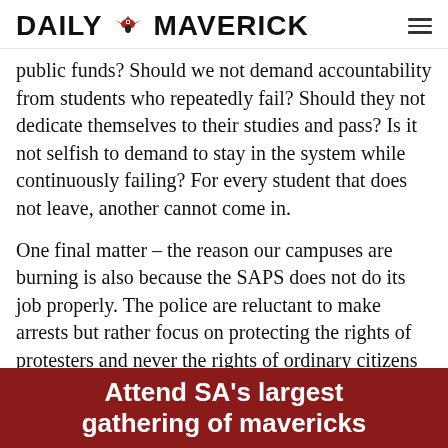DAILY MAVERICK
public funds? Should we not demand accountability from students who repeatedly fail? Should they not dedicate themselves to their studies and pass? Is it not selfish to demand to stay in the system while continuously failing? For every student that does not leave, another cannot come in.
One final matter – the reason our campuses are burning is also because the SAPS does not do its job properly. The police are reluctant to make arrests but rather focus on protecting the rights of protesters and never the rights of ordinary citizens who are often threatened and violated. How can
[Figure (other): Red banner advertisement with white text reading 'Attend SA's largest gathering of mavericks']